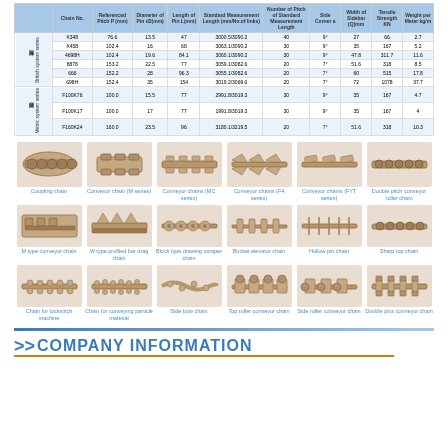|  | Chain No. | Referenced Pitch P (mm) | Diameter of Pin d2(mm) | Length of Pin L(mm) | Standard Measurement Length (mm/No.of links) | Number of Pitch of Standard Measurement Length | Side Corner a | Width of Sidebar (Q)mm | Tensile Strength KN | Weight per Meter kg/m |
| --- | --- | --- | --- | --- | --- | --- | --- | --- | --- | --- |
| 英制系列 | K348 | 76.6 | 13.5 | 47 | 3000.5/3090.2 | 40 | 9° | 27 | 66 | 2.7 |
|  | K458 | 102.4 | 16 | 68 | 3063.1/3090.2 | 30 | 9° | 35 | 167 | 5.2 |
| British system series | 4698H | 102.4 | 19.6 | 84.1 | 3060.1/3090.2 | 30 | 9° | 47.8 | 311.7 | 11.6 |
|  | 8878 | 153.2 | 22.5 | 77 | 3059.1/3082.6 | 20 | 7° | 51.6 | 318 | 8.5 |
|  | 666 | 152.2 | 28 | 96.3 | 3055.1/3082.6 | 20 | 7° | 60 | 515 | 17.8 |
|  | 698H | 152.4 | 35 | 154 | 3019.2/3069.6 | 20 | 7° | 72 | 1078 | 37.7 |
| 国标系列 | F100K76 | 100.0 | 15.5 | 77 | 2991.8/3019.3 | 30 | 9° | 35 | 167 | 4.7 |
| Metric | F100K17 | 100.0 | 17 | 77 | 1991.8/3019.3 | 30 | 9° | 35 | 167 | 4 |
| system series | F160K24 | 160.0 | 23.5 | 96 | 3180.1/3219.5 | 20 | 7° | 51.6 | 318 | 10.3 |
[Figure (photo): Coupling chain product photo]
Coupling chain
[Figure (photo): Conveyor chain (M series) product photo]
Conveyor chain (M series)
[Figure (photo): Conveyor chains (MC series) product photo]
Conveyor chains (MC series)
[Figure (photo): Conveyor chains (F4 series) product photo]
Conveyor chains (F4 series)
[Figure (photo): Conveyor chains (FYT series) product photo]
Conveyor chains (FYT series)
[Figure (photo): Double pitch conveyor roller chain product photo]
Double pitch conveyor roller chain
[Figure (photo): M type conveyor chain product photo]
M type conveyor chain
[Figure (photo): W type profiled bar drag chain product photo]
W type profiled bar drag chain
[Figure (photo): Block type drawing scraper chain product photo]
Block type drawing scraper chain
[Figure (photo): Bucket elevator chain product photo]
Bucket elevator chain
[Figure (photo): Hollow pin chain product photo]
Hollow pin chain
[Figure (photo): Sharp top chain product photo]
Sharp top chain
[Figure (photo): Chain for lockstitch machine product photo]
Chain for lockstitch machine
[Figure (photo): Chain for conveying particle material product photo]
Chain for conveying particle material
[Figure (photo): Side bow chain product photo]
Side bow chain
[Figure (photo): Top roller conveyor chain product photo]
Top roller conveyor chain
[Figure (photo): Side roller conveyor chain product photo]
Side roller conveyor chain
[Figure (photo): Double plus conveyor chain product photo]
Double plus conveyor chain
COMPANY INFORMATION